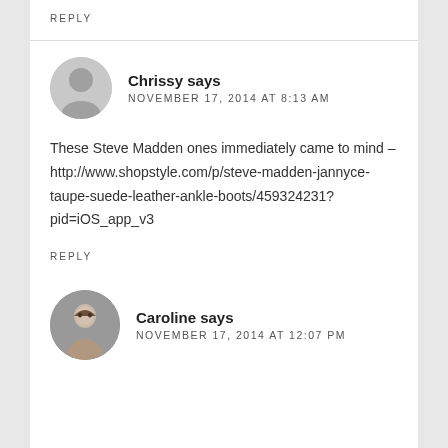REPLY
Chrissy says NOVEMBER 17, 2014 AT 8:13 AM
These Steve Madden ones immediately came to mind – http://www.shopstyle.com/p/steve-madden-jannyce-taupe-suede-leather-ankle-boots/459324231?pid=iOS_app_v3
REPLY
Caroline says NOVEMBER 17, 2014 AT 12:07 PM